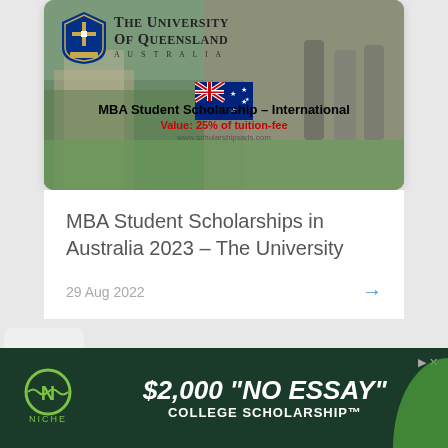[Figure (illustration): University of Queensland scholarship card with campus photo background, UQ shield logo, university name, Australian flag, and scholarship overlay text showing MBA Student Scholarship - International, Value: 25% of tuition-fee]
MBA Student Scholarships in Australia 2023 – The University
29 Aug 2022
[Figure (illustration): Niche advertisement banner: $2,000 "NO ESSAY" COLLEGE SCHOLARSHIP™ with Niche logo on dark green background]